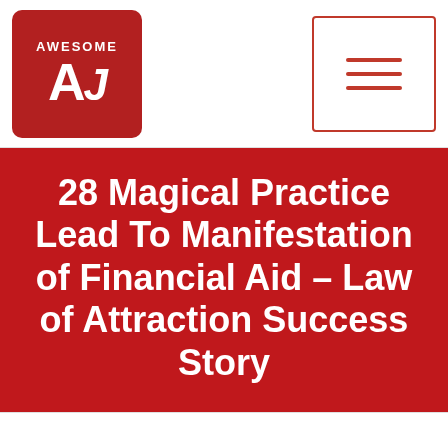[Figure (logo): Awesome AJ logo — red rounded square with 'AWESOME' text above stylized 'AJ' letters in white on dark red background]
[Figure (other): Hamburger menu button — three horizontal red lines inside a red-bordered rectangle]
28 Magical Practice Lead To Manifestation of Financial Aid – Law of Attraction Success Story